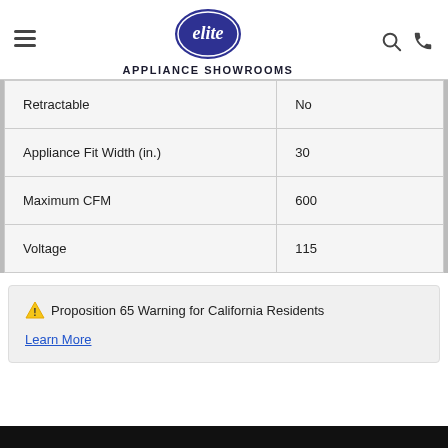elite APPLIANCE SHOWROOMS
| Retractable | No |
| Appliance Fit Width (in.) | 30 |
| Maximum CFM | 600 |
| Voltage | 115 |
⚠ Proposition 65 Warning for California Residents
Learn More